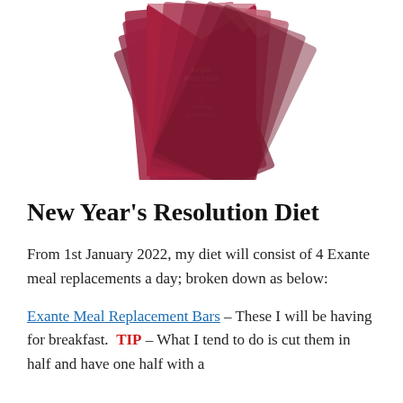[Figure (photo): Multiple dark red/maroon Exante meal replacement product boxes fanned out, showing 'HIGH PROTEIN' and '27 VITAMINS & MINERALS' text on packaging]
New Year's Resolution Diet
From 1st January 2022, my diet will consist of 4 Exante meal replacements a day; broken down as below:
Exante Meal Replacement Bars – These I will be having for breakfast. TIP – What I tend to do is cut them in half and have one half with a